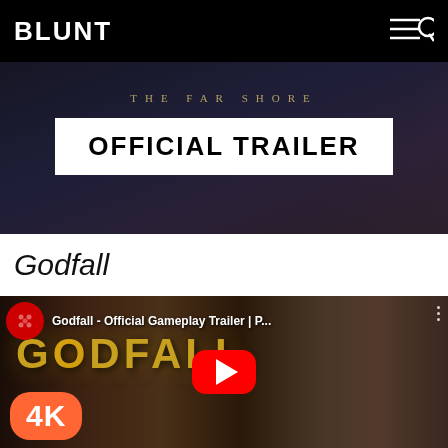BLUNT
[Figure (screenshot): Dark movie/game trailer banner showing 'THE FAR SHORE' subtitle text in gold spaced letters above a white-bordered box reading 'OFFICIAL TRAILER' in bold black text on white background]
Godfall
[Figure (screenshot): YouTube video embed thumbnail for Godfall Official Gameplay Trailer showing the GODFALL logo in gold text over dark fantasy game environment with armored character, YouTube red play button in center, YouTube channel icon top left, 4K orange badge bottom left, three dots menu top right, video title 'Godfall - Official Gameplay Trailer | P...']